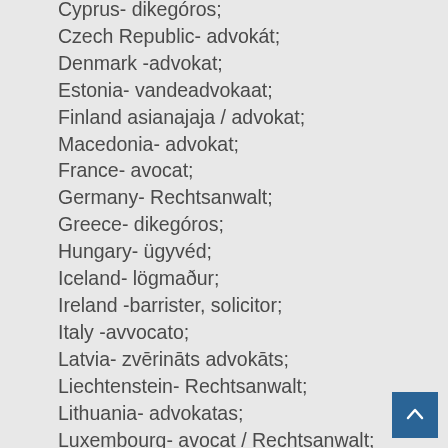Cyprus- dikegóros;
Czech Republic- advokát;
Denmark -advokat;
Estonia- vandeadvokaat;
Finland asianajaja / advokat;
Macedonia- advokat;
France- avocat;
Germany- Rechtsanwalt;
Greece- dikegóros;
Hungary- ügyvéd;
Iceland- lögmaður;
Ireland -barrister, solicitor;
Italy -avvocato;
Latvia- zvērināts advokāts;
Liechtenstein- Rechtsanwalt;
Lithuania- advokatas;
Luxembourg- avocat / Rechtsanwalt;
Malta- avukat, prokuratur legali;
Netherlands- advocaat;